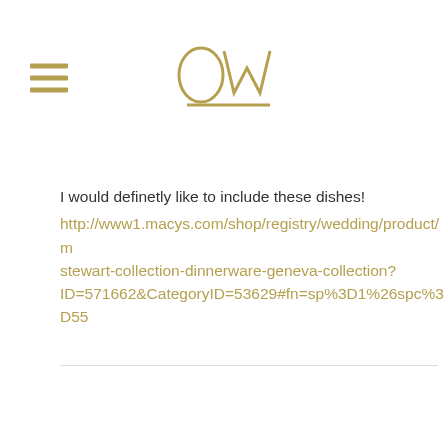[Figure (logo): OW logo in gold/tan color with decorative O and W letterforms, underlined]
I would definetly like to include these dishes!
http://www1.macys.com/shop/registry/wedding/product/m stewart-collection-dinnerware-geneva-collection?ID=571662&CategoryID=53629#fn=sp%3D1%26spc%3D55
Reply
Neltie Maynez